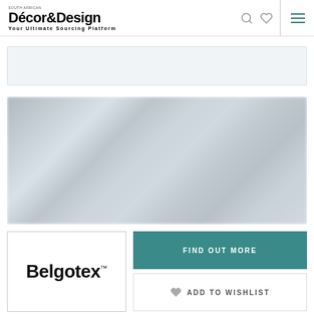South African Décor&Design — Your Ultimate Sourcing Platform
[Figure (other): Advertisement banner — light grey/blue placeholder banner]
[Figure (photo): Blurred wide product/interior photo showing soft blue-grey tones, likely carpet or flooring in a room setting]
[Figure (logo): Belgotex brand logo in bold black sans-serif text with trademark symbol, displayed in a white box with border]
FIND OUT MORE
ADD TO WISHLIST